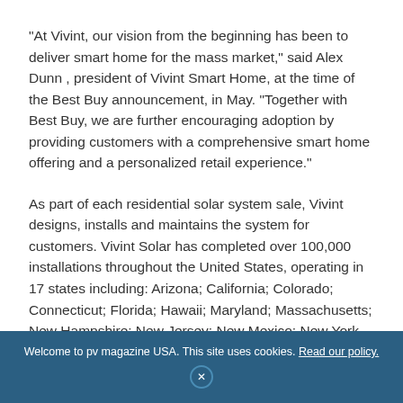“At Vivint, our vision from the beginning has been to deliver smart home for the mass market,” said Alex Dunn , president of Vivint Smart Home, at the time of the Best Buy announcement, in May. “Together with Best Buy, we are further encouraging adoption by providing customers with a comprehensive smart home offering and a personalized retail experience.”
As part of each residential solar system sale, Vivint designs, installs and maintains the system for customers. Vivint Solar has completed over 100,000 installations throughout the United States, operating in 17 states including: Arizona; California; Colorado; Connecticut; Florida; Hawaii; Maryland; Massachusetts; New Hampshire; New Jersey; New Mexico; New York...
Welcome to pv magazine USA. This site uses cookies. Read our policy.